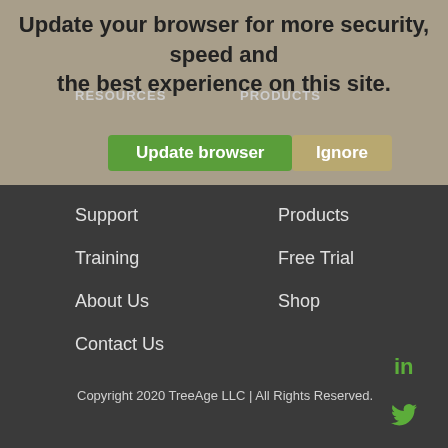Update your browser for more security, speed and the best experience on this site.
Update browser
Ignore
RESOURCES
PRODUCTS
Support
Training
About Us
Contact Us
Products
Free Trial
Shop
Copyright 2020 TreeAge LLC | All Rights Reserved.